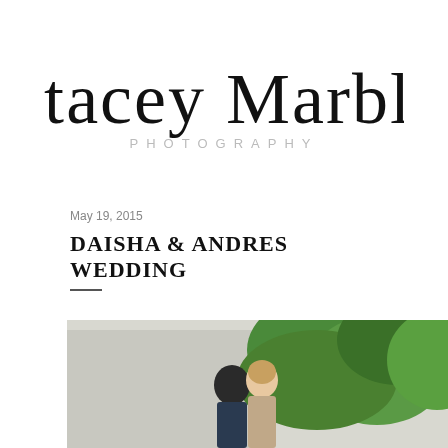[Figure (logo): Stacey Marble Photography logo with script handwritten text and 'PHOTOGRAPHY' in spaced uppercase below]
May 19, 2015
DAISHA & ANDRES WEDDING
[Figure (photo): Wedding photo of couple (man and woman) smiling outdoors with green foliage in background]